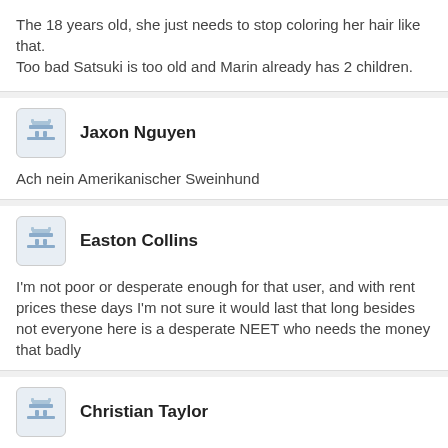The 18 years old, she just needs to stop coloring her hair like that.
Too bad Satsuki is too old and Marin already has 2 children.
Jaxon Nguyen
Ach nein Amerikanischer Sweinhund
Easton Collins
I'm not poor or desperate enough for that user, and with rent prices these days I'm not sure it would last that long besides not everyone here is a desperate NEET who needs the money that badly
Christian Taylor
18, petite, and a fashion designer? Sign me up, tommy